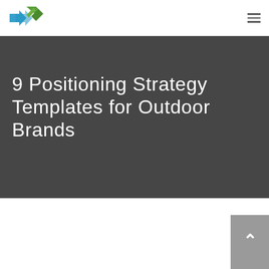9 Positioning Strategy Templates for Outdoor Brands
[Figure (other): Scroll-to-top button with upward caret arrow on grey background, positioned bottom-right corner]